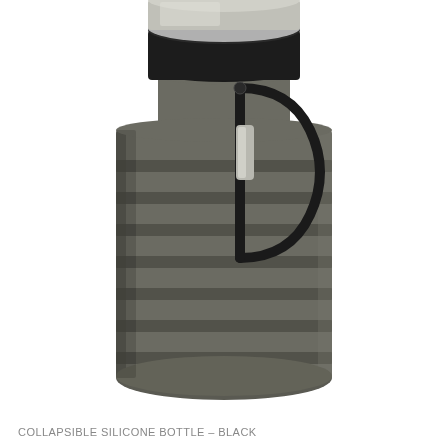[Figure (photo): A collapsible silicone water bottle in black/dark gray color with horizontal ridged segments, a black screw-on lid with silver/stainless steel top, and a black carabiner clip attached to the neck. The bottle sits on a white background.]
COLLAPSIBLE SILICONE BOTTLE – BLACK